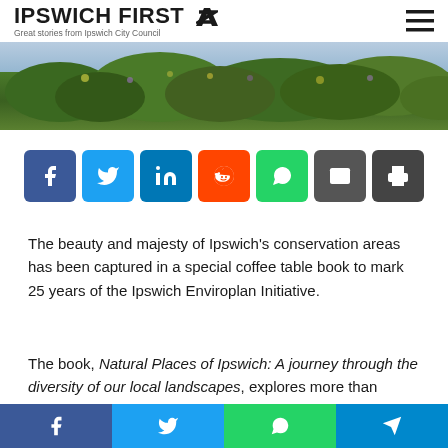IPSWICH FIRST — Great stories from Ipswich City Council
[Figure (photo): Green conservation landscape/vegetation strip hero image]
[Figure (infographic): Social share buttons: Facebook, Twitter, LinkedIn, Reddit, WhatsApp, Email, Print]
The beauty and majesty of Ipswich's conservation areas has been captured in a special coffee table book to mark 25 years of the Ipswich Enviroplan Initiative.
The book, Natural Places of Ipswich: A journey through the diversity of our local landscapes, explores more than [5,500 hectares of protected habitats across 18 conservation…]
[Figure (infographic): Bottom social share bar: Facebook, Twitter, WhatsApp, Telegram]